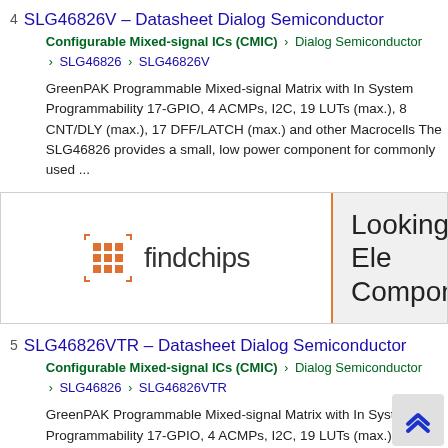4  SLG46826V – Datasheet Dialog Semiconductor
Configurable Mixed-signal ICs (CMIC) > Dialog Semiconductor > SLG46826 > SLG46826V
GreenPAK Programmable Mixed-signal Matrix with In System Programmability 17-GPIO, 4 ACMPs, I2C, 19 LUTs (max.), 8 CNT/DLY (max.), 17 DFF/LATCH (max.) and other Macrocells The SLG46826 provides a small, low power component for commonly used ...
[Figure (other): findchips advertisement banner with logo on left and 'Looking for Ele Components?' text on right]
5  SLG46826VTR – Datasheet Dialog Semiconductor
Configurable Mixed-signal ICs (CMIC) > Dialog Semiconductor > SLG46826 > SLG46826VTR
GreenPAK Programmable Mixed-signal Matrix with In System Programmability 17-GPIO, 4 ACMPs, I2C, 19 LUTs (max.), 8